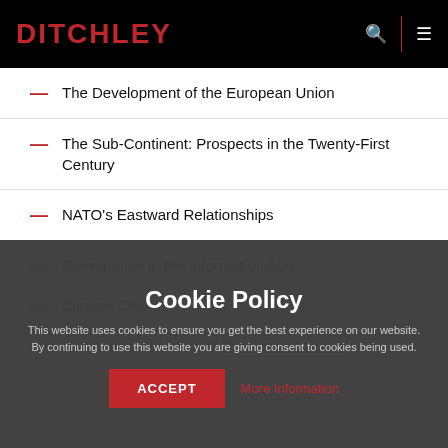DITCHLEY
The Development of the European Union
The Sub-Continent: Prospects in the Twenty-First Century
NATO's Eastward Relationships
Governance in the Information Age
Climate Change
Prevention, Justice and Conflict Resolution
Cookie Policy
This website uses cookies to ensure you get the best experience on our website. By continuing to use this website you are giving consent to cookies being used.
ACCEPT
More Information